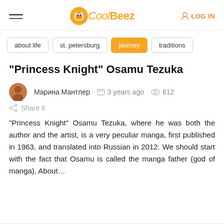CoolBeez — LOG IN
about life
st. petersburg
journey
traditions
"Princess Knight" Osamu Tezuka
Марина Мантлер   3 years ago   612   Share it
“Princess Knight” Osamu Tezuka, where he was both the author and the artist, is a very peculiar manga, first published in 1963, and translated into Russian in 2012. We should start with the fact that Osamu is called the manga father (god of manga), About…